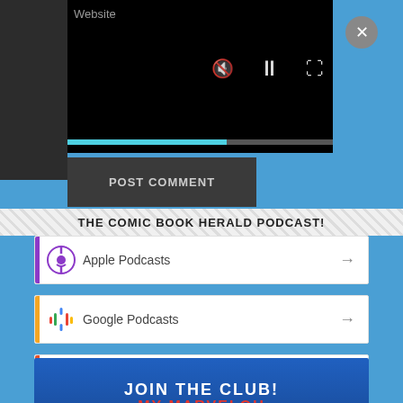[Figure (screenshot): Video player with black background showing media controls: mute icon, pause icon, fullscreen icon, and a cyan progress bar. A close (X) button in top-right. Left panel shows 'Website' text. A 'POST COMMENT' button below the player.]
THE COMIC BOOK HERALD PODCAST!
Apple Podcasts
Google Podcasts
RSS
[Figure (infographic): JOIN THE CLUB! MY MARVELOUS banner with blue and yellow background]